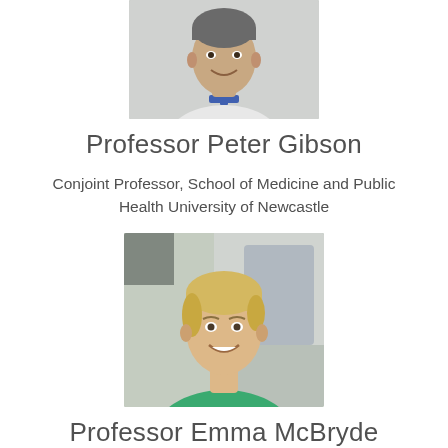[Figure (photo): Headshot photo of Professor Peter Gibson, a man wearing a white shirt and blue lanyard, smiling, cropped at top of page]
Professor Peter Gibson
Conjoint Professor, School of Medicine and Public Health University of Newcastle
[Figure (photo): Headshot photo of Professor Emma McBryde, a woman with short blonde hair, wearing a green top, smiling]
Professor Emma McBryde